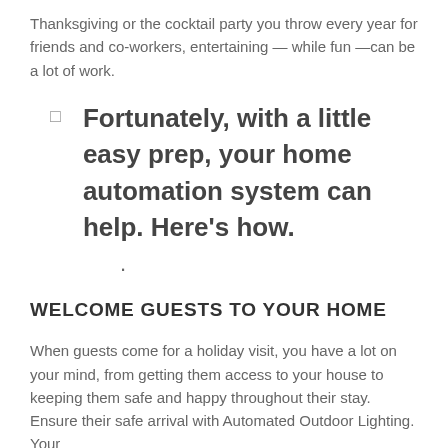Thanksgiving or the cocktail party you throw every year for friends and co-workers, entertaining — while fun —can be a lot of work.
Fortunately, with a little easy prep, your home automation system can help. Here's how.
WELCOME GUESTS TO YOUR HOME
When guests come for a holiday visit, you have a lot on your mind, from getting them access to your house to keeping them safe and happy throughout their stay. Ensure their safe arrival with Automated Outdoor Lighting. Your